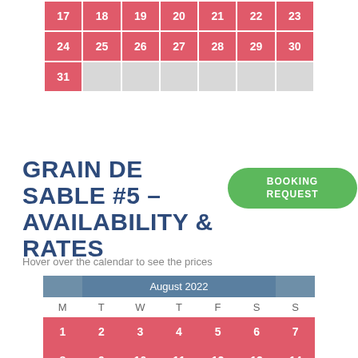[Figure (table-as-image): Partial calendar showing dates 17-31 with red and gray cells]
GRAIN DE SABLE #5 – AVAILABILITY & RATES
Hover over the calendar to see the prices
[Figure (table-as-image): August 2022 calendar with red, green, and circled cells for booking availability]
BOOKING REQUEST